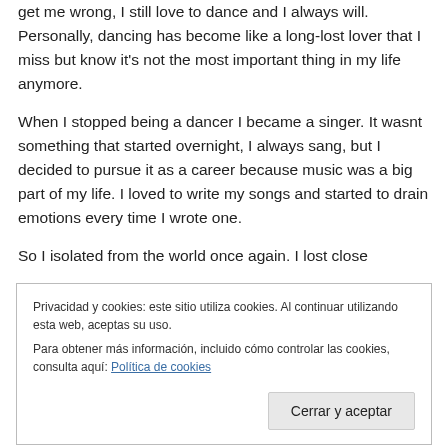get me wrong, I still love to dance and I always will. Personally, dancing has become like a long-lost lover that I miss but know it's not the most important thing in my life anymore.
When I stopped being a dancer I became a singer. It wasnt something that started overnight, I always sang, but I decided to pursue it as a career because music was a big part of my life. I loved to write my songs and started to drain emotions every time I wrote one.
So I isolated from the world once again. I lost close
Privacidad y cookies: este sitio utiliza cookies. Al continuar utilizando esta web, aceptas su uso.
Para obtener más información, incluido cómo controlar las cookies, consulta aquí: Política de cookies
Cerrar y aceptar